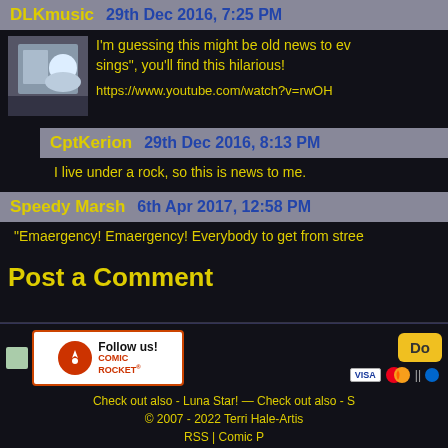DLKmusic   29th Dec 2016, 7:25 PM
I'm guessing this might be old news to ev sings", you'll find this hilarious!
https://www.youtube.com/watch?v=rwOH
CptKerion   29th Dec 2016, 8:13 PM
I live under a rock, so this is news to me.
Speedy Marsh   6th Apr 2017, 12:58 PM
"Emaergency! Emaergency! Everybody to get from stree
Post a Comment
[Figure (logo): Comic Rocket Follow us! logo badge]
[Figure (other): PayPal Donate button with Visa and Mastercard icons]
Check out also - Luna Star! — Check out also - S
© 2007 - 2022 Terri Hale-Artis
RSS | Comic P